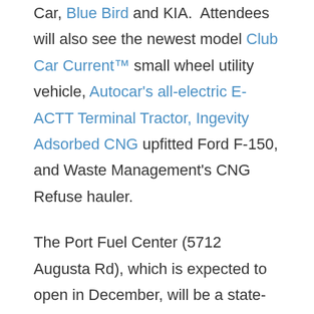Car, Blue Bird and KIA.  Attendees will also see the newest model Club Car Current™ small wheel utility vehicle, Autocar's all-electric E-ACTT Terminal Tractor, Ingevity Adsorbed CNG upfitted Ford F-150, and Waste Management's CNG Refuse hauler.
The Port Fuel Center (5712 Augusta Rd), which is expected to open in December, will be a state-of-the-art food and fueling facility, with some innovative features for drayage and freight operators in and around the Port of Savannah. The Center will feature live digital monitors displaying up-to-the-minute stacking at each of the port interchange gates, potentially saving drivers hundreds of hours of idling